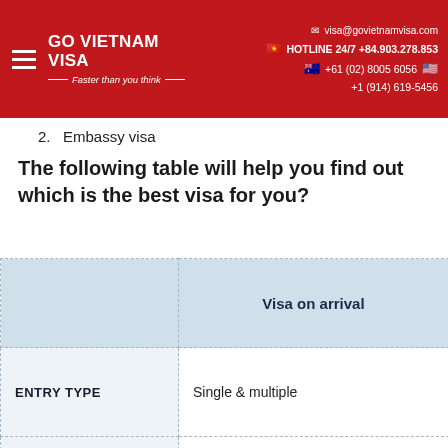GO VIETNAM VISA — Faster than you think | visa@govietnamvisa.com | HOTLINE 24/7 +84.903.278.853 | +61 (02) 8005 6056 | +1 (914) 619-5456
2.  Embassy visa
The following table will help you find out which is the best visa for you?
|  | Visa on arrival |
| --- | --- |
| ENTRY TYPE | Single & multiple |
| ENTRY GATE | At any international airports |
| LENGTH OF STAY | 1 month, 3 months, 6 months and... |